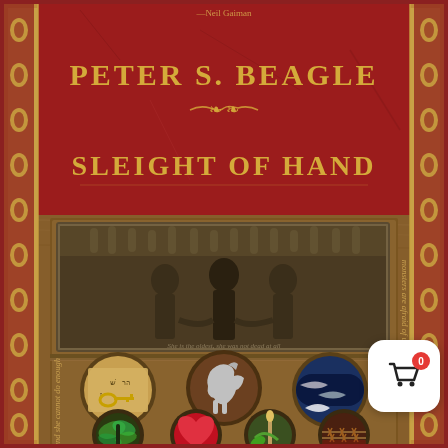[Figure (illustration): Book cover for 'Sleight of Hand' by Peter S. Beagle. The cover features a decorative red and gold ornamental border with floral/leaf patterns. The top half shows a distressed red background with gold serif text reading 'PETER S. BEAGLE' and 'SLEIGHT OF HAND' with a decorative ornament between them, and a partial quote attributed to Neil Gaiman at the top. The bottom half shows a wooden box/shadowbox display containing: a sepia-toned photograph of three women holding hands, and multiple circular compartments containing various small objects including a key, a horse figurine, fish in water, a butterfly/dragonfly, a red heart, a paintbrush with leaves, and barbed wire/thorns. Vertical text on the left side reads 'There are too many, and she cannot do enough' and on the right side reads 'monsters are afraid of us too'. A shopping cart UI element with a red badge showing '0' appears in the bottom right corner.]